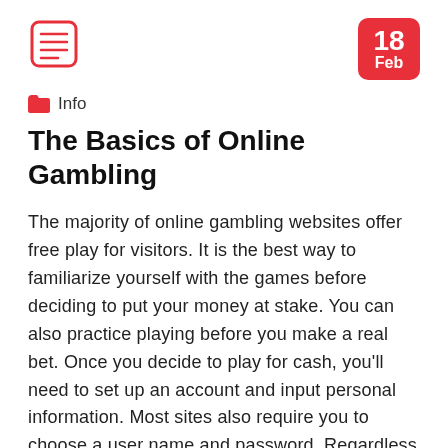[Figure (logo): Menu/list icon with red border lines representing a document or menu symbol]
[Figure (other): Red rounded square badge showing date '18 Feb']
Info
The Basics of Online Gambling
The majority of online gambling websites offer free play for visitors. It is the best way to familiarize yourself with the games before deciding to put your money at stake. You can also practice playing before you make a real bet. Once you decide to play for cash, you'll need to set up an account and input personal information. Most sites also require you to choose a user name and password. Regardless of the site you choose, you should try playing games for fun first to see if you like them. Many of the games also which are not the other